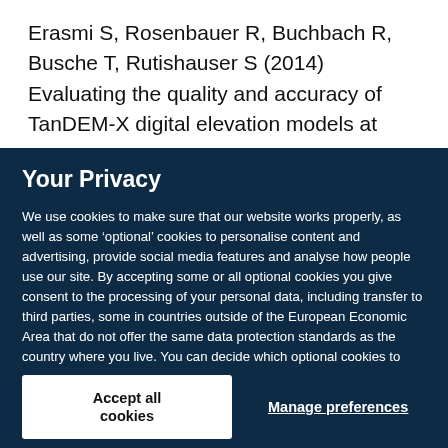Erasmi S, Rosenbauer R, Buchbach R, Busche T, Rutishauser S (2014) Evaluating the quality and accuracy of TanDEM-X digital elevation models at
Your Privacy
We use cookies to make sure that our website works properly, as well as some ‘optional’ cookies to personalise content and advertising, provide social media features and analyse how people use our site. By accepting some or all optional cookies you give consent to the processing of your personal data, including transfer to third parties, some in countries outside of the European Economic Area that do not offer the same data protection standards as the country where you live. You can decide which optional cookies to accept by clicking on ‘Manage Settings’, where you can also find more information about how your personal data is processed. Further information can be found in our privacy policy.
Accept all cookies
Manage preferences